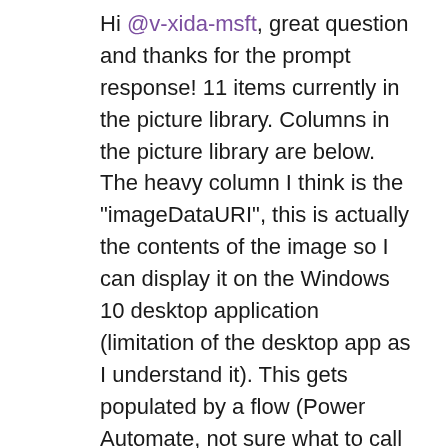Hi @v-xida-msft, great question and thanks for the prompt response! 11 items currently in the picture library. Columns in the picture library are below. The heavy column I think is the "imageDataURI", this is actually the contents of the image so I can display it on the Windows 10 desktop application (limitation of the desktop app as I understand it). This gets populated by a flow (Power Automate, not sure what to call it now) which essentially gets the file contents of the image and then does a dataUri function on the content of the image. Another column which might be odd is the "orginalFilename" column has a filename in it which is the max length (from some testing I was doing). It does take a bit to load the SharePoint picture library in browser with all the columns in the view but it does load up. Could this be my issue either the DataURI column or the file name being super long and these things are coming into the preview and potentially